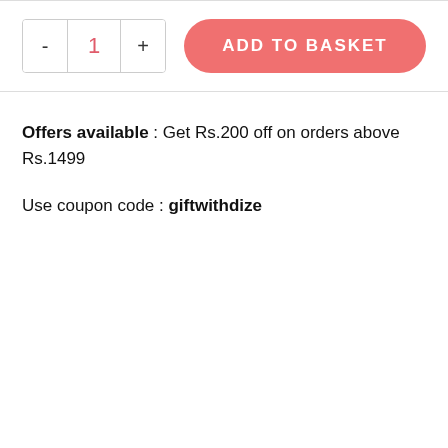[Figure (screenshot): Quantity selector with minus button, value '1', and plus button, next to a pink 'ADD TO BASKET' button]
Offers available : Get Rs.200 off on orders above Rs.1499
Use coupon code : giftwithdize